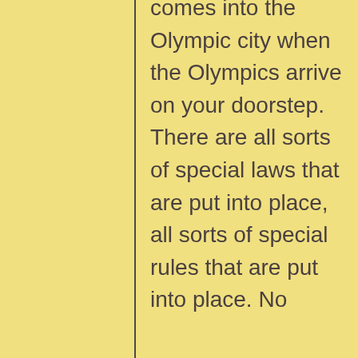comes into the Olympic city when the Olympics arrive on your doorstep. There are all sorts of special laws that are put into place, all sorts of special rules that are put into place. No